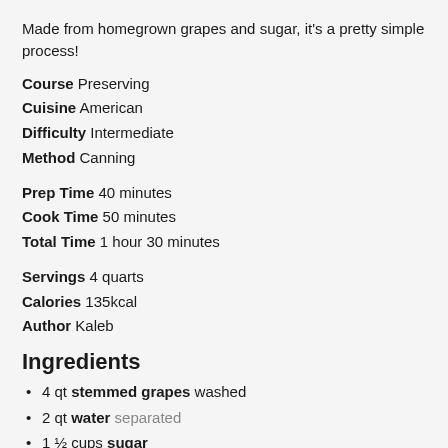Made from homegrown grapes and sugar, it's a pretty simple process!
Course Preserving
Cuisine American
Difficulty Intermediate
Method Canning
Prep Time 40 minutes
Cook Time 50 minutes
Total Time 1 hour 30 minutes
Servings 4 quarts
Calories 135kcal
Author Kaleb
Ingredients
4 qt stemmed grapes washed
2 qt water separated
1 ½ cups sugar
Instructions
1. Place the 4 quarts of grapes in a...